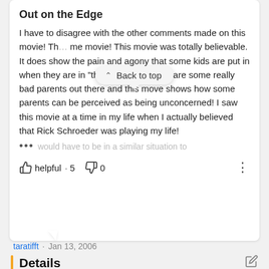Out on the Edge
I have to disagree with the other comments made on this movie! Th [Back to top] me movie! This movie was totally believable. It does show the pain and agony that some kids are put in when they are in "they system!" There are some really bad parents out there and this move shows how some parents can be perceived as being unconcerned! I saw this movie at a time in my life when I actually believed that Rick Schroeder was playing my life!
... would have to be in a similar situation to
helpful · 5   0
taratifft · Jan 13, 2006
Details